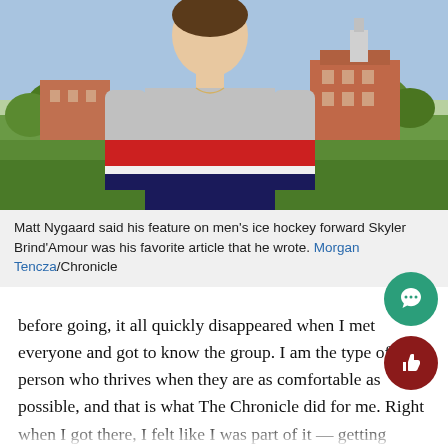[Figure (photo): A young man wearing a grey, red, and navy striped t-shirt standing outdoors on a campus green, with brick buildings and trees visible in the background.]
Matt Nygaard said his feature on men's ice hockey forward Skyler Brind'Amour was his favorite article that he wrote. Morgan Tencza/Chronicle
before going, it all quickly disappeared when I met everyone and got to know the group. I am the type of person who thrives when they are as comfortable as possible, and that is what The Chronicle did for me. Right when I got there, I felt like I was part of it — getting sports editors Brendan O'Sullivan and Jared Penna's contact information to start covering games that upcoming weekend.
The Chronicle gave me a forum to practice my writing a hone in on my skills, but it gave me so much socially as well. I now have lifelong friends who I wouldn't have met